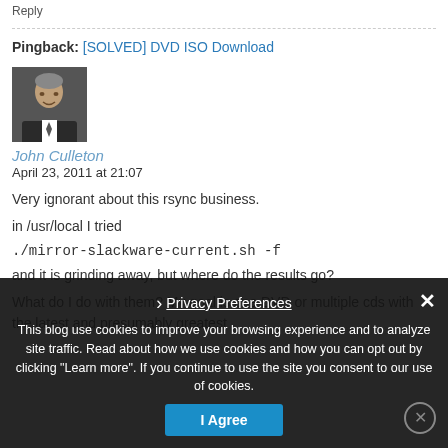Reply
Pingback: [SOLVED] DVD ISO Download
[Figure (photo): Avatar photo of John Culleton, a man in a suit]
John Culleton
April 23, 2011 at 21:07
Very ignorant about this rsync business.
in /usr/local I tried
./mirror-slackware-current.sh -f
and it is grinding away, but where do the results go?
What do I do with them? My goal is one DVD or multiple cds with the latest and presumably greatest
This blog use cookies to improve your browsing experience and to analyze site traffic. Read about how we use cookies and how you can opt out by clicking "Learn more". If you continue to use the site you consent to our use of cookies.
Privacy Preferences
I Agree